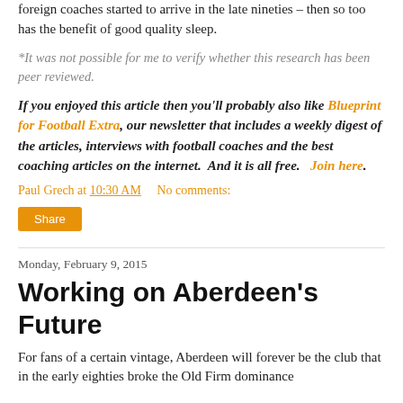foreign coaches started to arrive in the late nineties – then so too has the benefit of good quality sleep.
*It was not possible for me to verify whether this research has been peer reviewed.
If you enjoyed this article then you'll probably also like Blueprint for Football Extra, our newsletter that includes a weekly digest of the articles, interviews with football coaches and the best coaching articles on the internet. And it is all free. Join here.
Paul Grech at 10:30 AM    No comments:
Share
Monday, February 9, 2015
Working on Aberdeen's Future
For fans of a certain vintage, Aberdeen will forever be the club that in the early eighties broke the Old Firm dominance